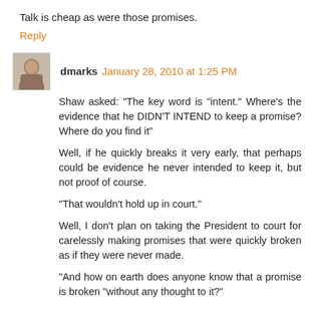Talk is cheap as were those promises.
Reply
dmarks January 28, 2010 at 1:25 PM
Shaw asked: "The key word is "intent." Where's the evidence that he DIDN'T INTEND to keep a promise? Where do you find it"
Well, if he quickly breaks it very early, that perhaps could be evidence he never intended to keep it, but not proof of course.
"That wouldn't hold up in court."
Well, I don't plan on taking the President to court for carelessly making promises that were quickly broken as if they were never made.
"And how on earth does anyone know that a promise is broken "without any thought to it?"